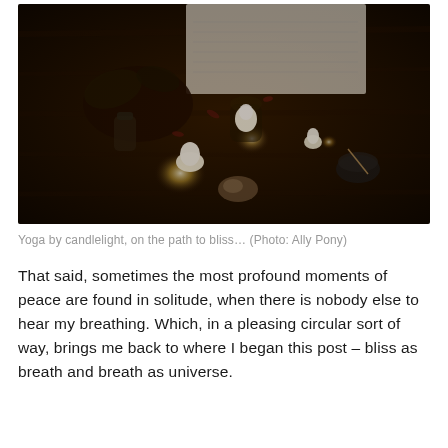[Figure (photo): Overhead view of a dark wooden floor with several lit candles glowing warmly, an open notebook, a plant, a small cup and other objects arranged around the candles, creating a cozy candlelit yoga or meditation scene.]
Yoga by candlelight, on the path to bliss… (Photo: Ally Pony)
That said, sometimes the most profound moments of peace are found in solitude, when there is nobody else to hear my breathing. Which, in a pleasing circular sort of way, brings me back to where I began this post – bliss as breath and breath as universe.